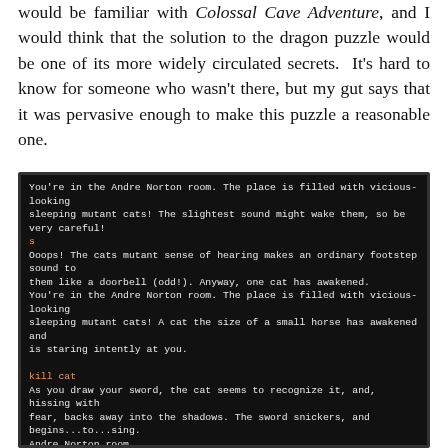would be familiar with Colossal Cave Adventure, and I would think that the solution to the dragon puzzle would be one of its more widely circulated secrets.  It's hard to know for someone who wasn't there, but my gut says that it was pervasive enough to make this puzzle a reasonable one.
[Figure (screenshot): Terminal/game output showing text adventure game session in the Andre Norton room with mutant cats, followed by Frank Herbert sand room with dig command.]